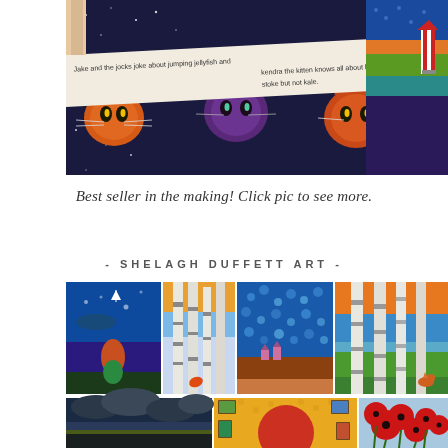[Figure (photo): Top photo showing open illustrated children's book with colorful cat artwork on dark background, text visible reading 'Jake and the jocks joke about jumping jellyfish' and 'kendra the kitten knows all about kestrels, koalas, kazoo' and 'stoke but not kale.' Pages show whimsical illustrated cats in a starry night scene with colorful decorative borders on the right side.]
Best seller in the making! Click pic to see more.
- SHELAGH DUFFETT ART -
[Figure (photo): Grid of colorful artwork thumbnails showing: top row - mermaid underwater scene, birch trees in winter, blue dotted landscape, birch trees with orange/blue sky; bottom row - stormy dark sky seascape, round sun artwork with picture frames on orange background, red poppies on light blue background.]